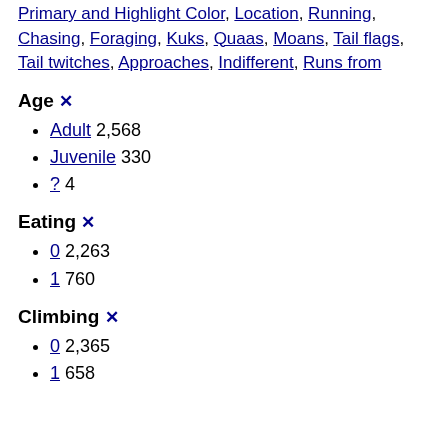Primary and Highlight Color, Location, Running, Chasing, Foraging, Kuks, Quaas, Moans, Tail flags, Tail twitches, Approaches, Indifferent, Runs from
Age ✕
Adult 2,568
Juvenile 330
? 4
Eating ✕
0 2,263
1 760
Climbing ✕
0 2,365
1 658